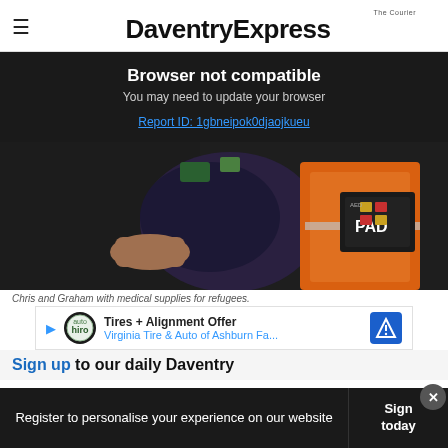DaventryExpress
Browser not compatible
You may need to update your browser
Report ID: 1gbneipok0djaojkueu
[Figure (photo): Two people holding medical supplies including an orange vest and a PAD defibrillator case]
Chris and Graham with medical supplies for refugees.
[Figure (infographic): Advertisement banner: Tires + Alignment Offer - Virginia Tire & Auto of Ashburn Fa...]
Sign up to our daily Daventry
Register to personalise your experience on our website
Sign today